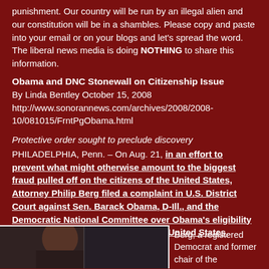punishment. Our country will be run by an illegal alien and our constitution will be in a shambles. Please copy and paste into your email or on your blogs and let's spread the word. The liberal news media is doing NOTHING to share this information.
Obama and DNC Stonewall on Citizenship Issue
By Linda Bentley October 15, 2008
http://www.sonorannews.com/archives/2008/2008-10/081015/FrntPgObama.html
Protective order sought to preclude discovery
PHILADELPHIA, Penn. – On Aug. 21, in an effort to prevent what might otherwise amount to the biggest fraud pulled off on the citizens of the United States, Attorney Philip Berg filed a complaint in U.S. District Court against Sen. Barack Obama, D-Ill., and the Democratic National Committee over Obama's eligibility to hold the office of president of the United States.
[Figure (photo): Partial photo of a person, likely Obama, at the bottom left of the page]
Berg, a registered Democrat and former chair of the